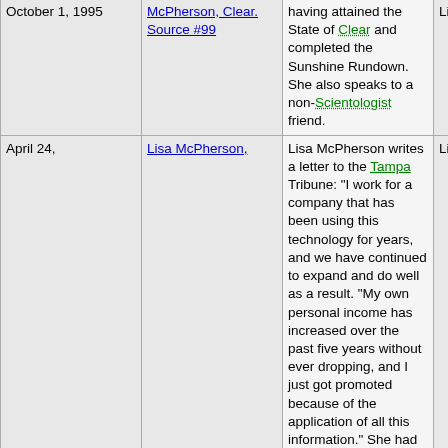| Date | Source | Event | Person |
| --- | --- | --- | --- |
| October 1, 1995 | McPherson, Clear. Source #99 | having attained the State of Clear and completed the Sunshine Rundown. She also speaks to a non-Scientologist friend. | Lisa McPherson |
| April 24, | Lisa McPherson, | Lisa McPherson writes a letter to the Tampa Tribune: "I work for a company that has been using this technology for years, and we have continued to expand and do well as a result. "My own personal income has increased over the past five years without ever dropping, and I just got promoted because of the application of all this information." She had been | Lisa |